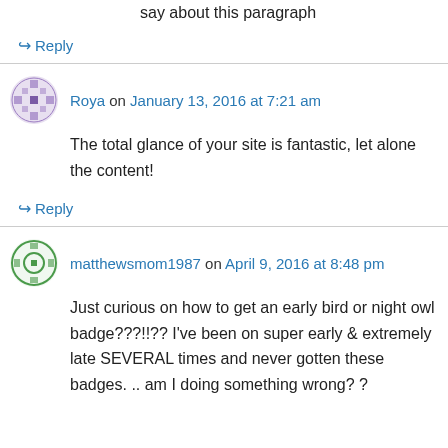say about this paragraph
↪ Reply
Roya on January 13, 2016 at 7:21 am
The total glance of your site is fantastic, let alone the content!
↪ Reply
matthewsmom1987 on April 9, 2016 at 8:48 pm
Just curious on how to get an early bird or night owl badge???!!?? I've been on super early & extremely late SEVERAL times and never gotten these badges. .. am I doing something wrong? ?